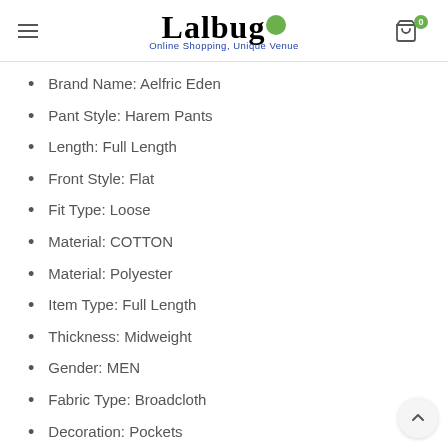Lalbug — Online Shopping, Unique Venue
Brand Name: Aelfric Eden
Pant Style: Harem Pants
Length: Full Length
Front Style: Flat
Fit Type: Loose
Material: COTTON
Material: Polyester
Item Type: Full Length
Thickness: Midweight
Gender: MEN
Fabric Type: Broadcloth
Decoration: Pockets